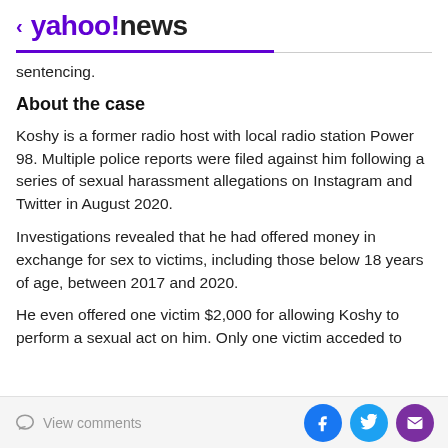< yahoo!news
sentencing.
About the case
Koshy is a former radio host with local radio station Power 98. Multiple police reports were filed against him following a series of sexual harassment allegations on Instagram and Twitter in August 2020.
Investigations revealed that he had offered money in exchange for sex to victims, including those below 18 years of age, between 2017 and 2020.
He even offered one victim $2,000 for allowing Koshy to perform a sexual act on him. Only one victim acceded to
View comments